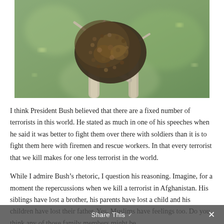[Figure (photo): A large swarm of bees clustered on tree branches against a green blurred background]
I think President Bush believed that there are a fixed number of terrorists in this world. He stated as much in one of his speeches when he said it was better to fight them over there with soldiers than it is to fight them here with firemen and rescue workers. In that every terrorist that we kill makes for one less terrorist in the world.
While I admire Bush’s rhetoric, I question his reasoning. Imagine, for a moment the repercussions when we kill a terrorist in Afghanistan. His siblings have lost a brother, his parents have lost a child and his children have lost their father. Yes, Muslims have feelings too. Do you think any of those family members might be
Share This